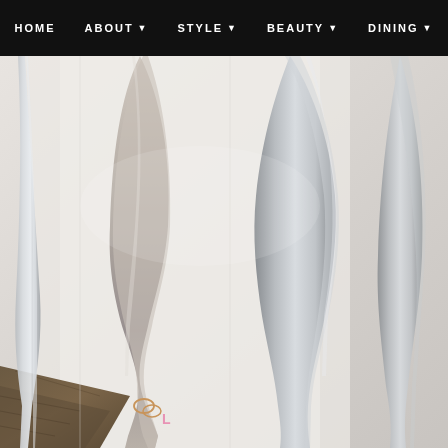HOME  ABOUT  STYLE  BEAUTY  DINING
[Figure (photo): Close-up photograph of silver cutlery (forks and knives) laid on a white cloth/napkin with a cork board visible at the lower left. The handles of the cutlery show a small monogram or logo engraved in copper/gold tones, with a small pink accent mark visible on one piece.]